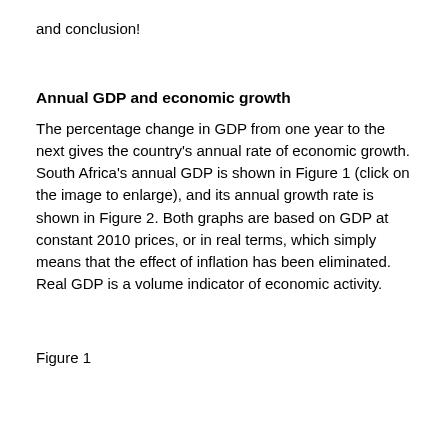and conclusion!
Annual GDP and economic growth
The percentage change in GDP from one year to the next gives the country's annual rate of economic growth. South Africa's annual GDP is shown in Figure 1 (click on the image to enlarge), and its annual growth rate is shown in Figure 2. Both graphs are based on GDP at constant 2010 prices, or in real terms, which simply means that the effect of inflation has been eliminated. Real GDP is a volume indicator of economic activity.
Figure 1